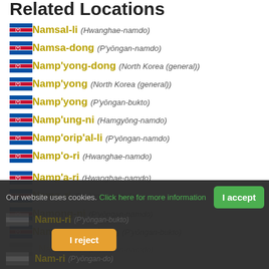Related Locations
Namsal-li (Hwanghae-namdo)
Namsa-dong (P'yōngan-namdo)
Namp'yong-dong (North Korea (general))
Namp'yong (North Korea (general))
Namp'yong (P'yōngan-bukto)
Namp'ung-ni (Hamgyōng-namdo)
Namp'orip'al-li (P'yōngan-namdo)
Namp'o-ri (Hwanghae-namdo)
Namp'a-ri (Hwanghae-namdo)
Namo-ri (P'yōngan-namdo)
Namong-ni (P'yōngan-namdo)
Namoesong-dong (P'yōngan-bukto)
Our website uses cookies. Click here for more information  I accept  I reject